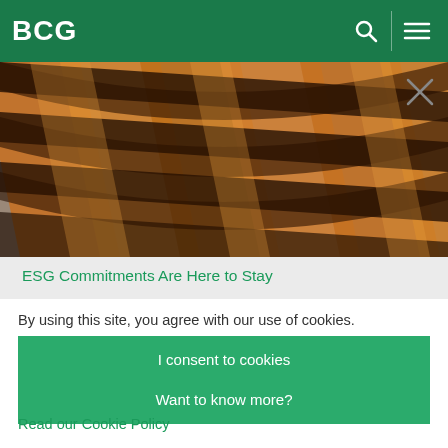BCG
[Figure (photo): Abstract photo of interwoven wooden strips/slats creating a grid-like pattern with shadows, warm brown tones and grey stone visible beneath.]
ESG Commitments Are Here to Stay
By using this site, you agree with our use of cookies.
I consent to cookies
Want to know more?
Read our Cookie Policy